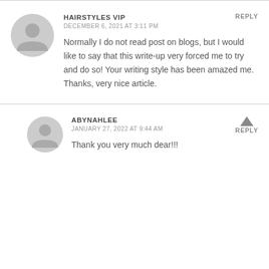HAIRSTYLES VIP
DECEMBER 6, 2021 AT 3:11 PM
Normally I do not read post on blogs, but I would like to say that this write-up very forced me to try and do so! Your writing style has been amazed me. Thanks, very nice article.
REPLY
ABYNAHLEE
JANUARY 27, 2022 AT 9:44 AM
Thank you very much dear!!!
REPLY